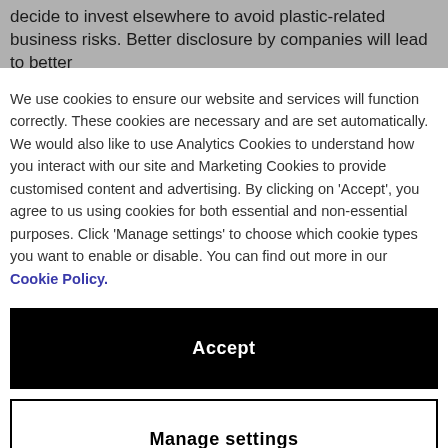decide to invest elsewhere to avoid plastic-related business risks. Better disclosure by companies will lead to better
We use cookies to ensure our website and services will function correctly. These cookies are necessary and are set automatically. We would also like to use Analytics Cookies to understand how you interact with our site and Marketing Cookies to provide customised content and advertising. By clicking on 'Accept', you agree to us using cookies for both essential and non-essential purposes. Click 'Manage settings' to choose which cookie types you want to enable or disable. You can find out more in our Cookie Policy.
Accept
Manage settings